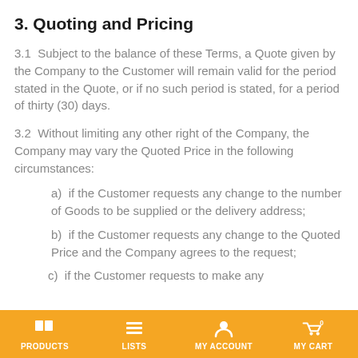3. Quoting and Pricing
3.1  Subject to the balance of these Terms, a Quote given by the Company to the Customer will remain valid for the period stated in the Quote, or if no such period is stated, for a period of thirty (30) days.
3.2  Without limiting any other right of the Company, the Company may vary the Quoted Price in the following circumstances:
a)  if the Customer requests any change to the number of Goods to be supplied or the delivery address;
b)  if the Customer requests any change to the Quoted Price and the Company agrees to the request;
c)  if the Customer requests to make any
PRODUCTS  LISTS  MY ACCOUNT  MY CART 0